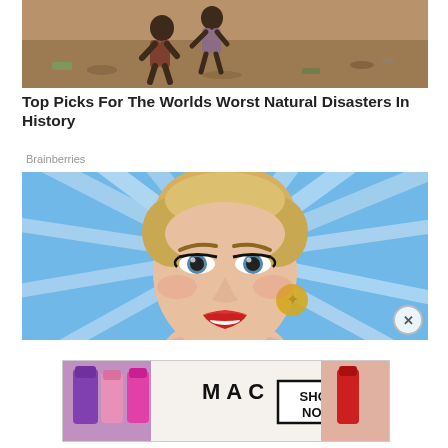[Figure (photo): Photo of people working or digging in sandy/muddy terrain, appears to be disaster or humanitarian context]
Top Picks For The Worlds Worst Natural Disasters In History
Brainberries
[Figure (photo): Close-up portrait of a blonde woman with short hair, heavy eye makeup and red lipstick, in front of a bright blue/white star-patterned background (appears to be a celebrity at a TV show event)]
[Figure (photo): MAC cosmetics advertisement showing colorful lipsticks (purple, pink, red) with MAC logo and SHOP NOW call to action]